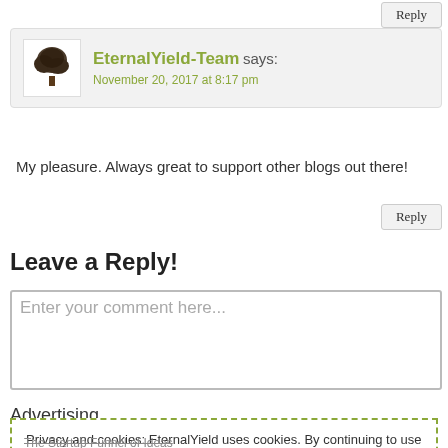Reply
EternalYield-Team says:
November 20, 2017 at 8:17 pm
My pleasure. Always great to support other blogs out there!
Reply
Leave a Reply!
Enter your comment here...
Advertising
Privacy and cookies: EternalYield uses cookies. By continuing to use this website, you agree to their use. Cookie Policy
Close and accept
The Startup Funnel of Ideas